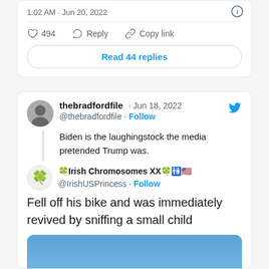1:02 AM · Jun 20, 2022
494   Reply   Copy link
Read 44 replies
thebradfordfile · Jun 18, 2022
@thebradfordfile · Follow
Biden is the laughingstock the media pretended Trump was.
🍀Irish Chromosomes XX🍀🚻🇺🇸
@IrishUSPrincess · Follow
Fell off his bike and was immediately revived by sniffing a small child
[Figure (photo): Partial photo visible at bottom, blue sky background with people]